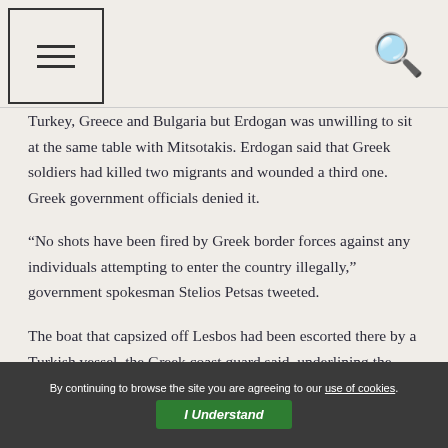[Menu icon] [Search icon]
Turkey, Greece and Bulgaria but Erdogan was unwilling to sit at the same table with Mitsotakis. Erdogan said that Greek soldiers had killed two migrants and wounded a third one. Greek government officials denied it.
“No shots have been fired by Greek border forces against any individuals attempting to enter the country illegally,” government spokesman Stelios Petsas tweeted.
The boat that capsized off Lesbos had been escorted there by a Turkish vessel, the Greek coast guard said, underlining the escalating tensions between Ankara and Athens. The dead boy was aged about six, they said, but provided no other details.
By continuing to browse the site you are agreeing to our use of cookies. I Understand